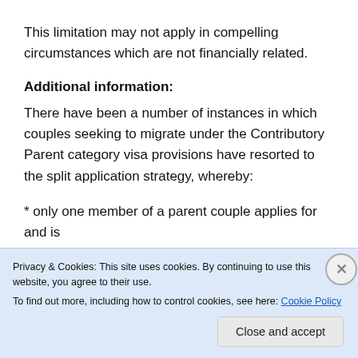This limitation may not apply in compelling circumstances which are not financially related.
Additional information:
There have been a number of instances in which couples seeking to migrate under the Contributory Parent category visa provisions have resorted to the split application strategy, whereby:
* only one member of a parent couple applies for and is
Privacy & Cookies: This site uses cookies. By continuing to use this website, you agree to their use.
To find out more, including how to control cookies, see here: Cookie Policy